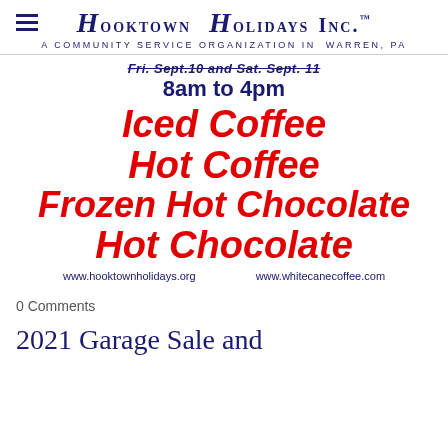Hooktown Holidays Inc. — A Community Service Organization in Warren, PA
Fri. Sept. 10 and Sat. Sept. 11 8am to 4pm
Iced Coffee
Hot Coffee
Frozen Hot Chocolate
Hot Chocolate
www.hooktownholidays.org    www.whitecanecoffee.com
0 Comments
2021 Garage Sale and